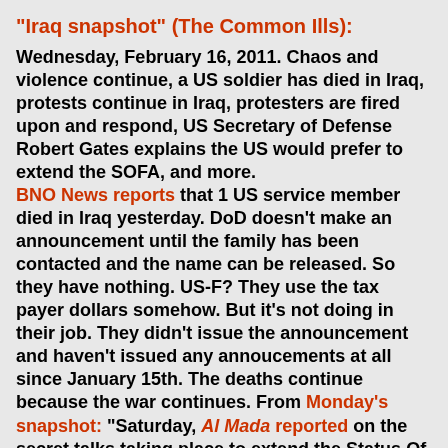"Iraq snapshot" (The Common Ills):
Wednesday, February 16, 2011. Chaos and violence continue, a US soldier has died in Iraq, protests continue in Iraq, protesters are fired upon and respond, US Secretary of Defense Robert Gates explains the US would prefer to extend the SOFA, and more. BNO News reports that 1 US service member died in Iraq yesterday. DoD doesn't make an announcement until the family has been contacted and the name can be released. So they have nothing. US-F? They use the tax payer dollars somehow. But it's not doing in their job. They didn't issue the announcement and haven't issued any annoucements at all since January 15th. The deaths continue because the war continues. From Monday's snapshot: "Saturday, Al Mada reported on the secret talks taking place to extend the Status Of Forces Agreement and cites Qassim